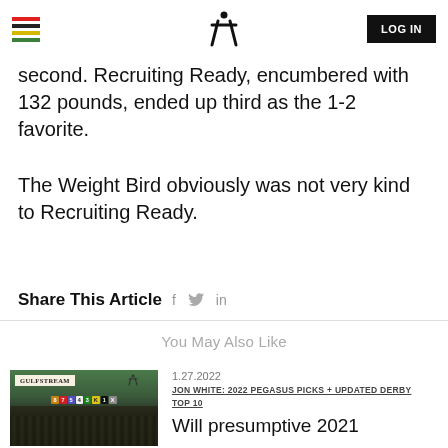LOG IN
second. Recruiting Ready, encumbered with 132 pounds, ended up third as the 1-2 favorite.
The Weight Bird obviously was not very kind to Recruiting Ready.
Share This Article  f  in
You May Also Like
[Figure (photo): Gulfstream Park racetrack starting gate with horses]
1.27.2022
JON WHITE: 2022 PEGASUS PICKS + UPDATED DERBY TOP 10
Will presumptive 2021